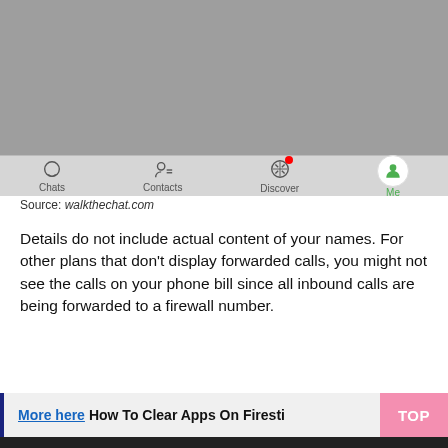[Figure (screenshot): WeChat mobile app bottom navigation bar showing Chats, Contacts, Discover (with red notification badge), and Me (active, highlighted with green icon in white circle) tabs on a gray background.]
Source: walkthechat.com
Details do not include actual content of your names. For other plans that don't display forwarded calls, you might not see the calls on your phone bill since all inbound calls are being forwarded to a firewall number.
More here How To Clear Apps On Firesti TOP